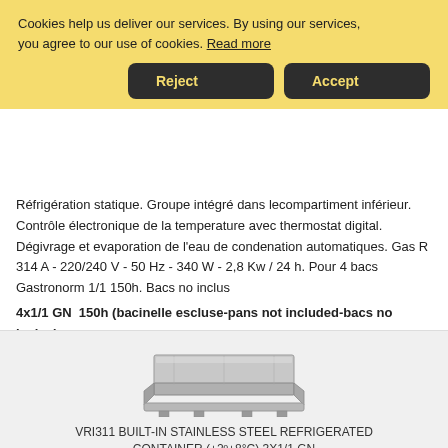Cookies help us deliver our services. By using our services, you agree to our use of cookies. Read more
Reject | Accept
Réfrigération statique. Groupe intégré dans lecompartiment inférieur. Contrôle électronique de la temperature avec thermostat digital. Dégivrage et evaporation de l'eau de condenation automatiques. Gas R 314 A - 220/240 V - 50 Hz - 340 W - 2,8 Kw / 24 h. Pour 4 bacs Gastronorm 1/1 150h. Bacs no inclus
4x1/1 GN  150h (bacinelle escluse-pans not included-bacs no inclus) (+2° +8°C)
dim. 144x68x54,5h cm
SIMILAR
[Figure (photo): Stainless steel refrigerated container unit, built-in type, shown from a perspective angle]
VRI311 BUILT-IN STAINLESS STEEL REFRIGERATED CONTAINER (+2º+8°C) 3X1/1 GN